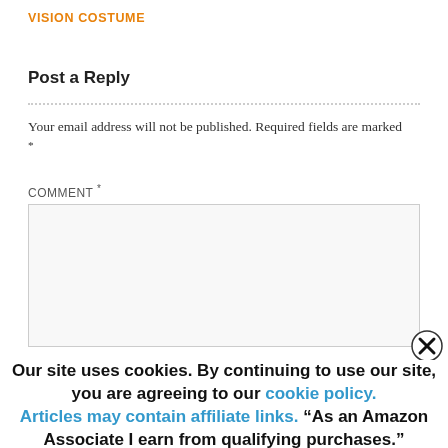VISION COSTUME
Post a Reply
Your email address will not be published. Required fields are marked *
COMMENT *
Our site uses cookies. By continuing to use our site, you are agreeing to our cookie policy. Articles may contain affiliate links. “As an Amazon Associate I earn from qualifying purchases.”